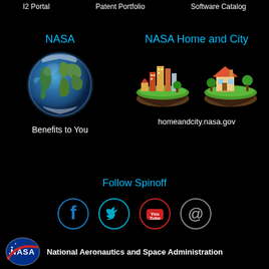I2 Portal
Patent Portfolio
Software Catalog
NASA
[Figure (illustration): Globe/Earth illustration]
Benefits to You
NASA Home and City
[Figure (illustration): NASA Home and City floating island illustrations showing city and house]
homeandcity.nasa.gov
Follow Spinoff
[Figure (infographic): Social media icons: Facebook, Twitter, YouTube, Email (@)]
[Figure (logo): NASA logo]
National Aeronautics and Space Administration